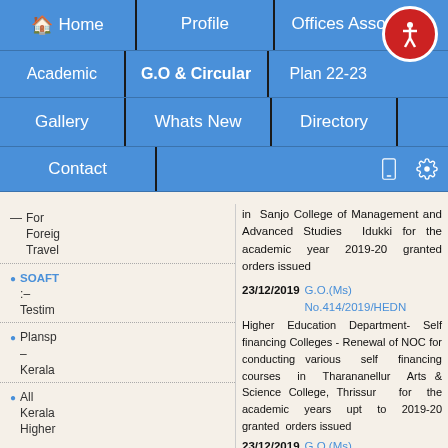Home | Profile | Offices Associated | Academic | G.O & Circular | Plan 22-23 | Gallery | Whats New | Directory | Contact
in Sanjo College of Management and Advanced Studies Idukki for the academic year 2019-20 granted orders issued
23/12/2019 G.O.(Ms) No.414/2019/HEDN Higher Education Department- Self financing Colleges - Renewal of NOC for conducting various self financing courses in Tharananellur Arts & Science College, Thrissur for the academic years upt to 2019-20 granted orders issued
23/12/2019 G.O.(Ms) No.413/2019/HEDN Higher Education Department- Self
For Foreign Travel
SOAFT :- Testimony
Plansp - Kerala
All Kerala Higher